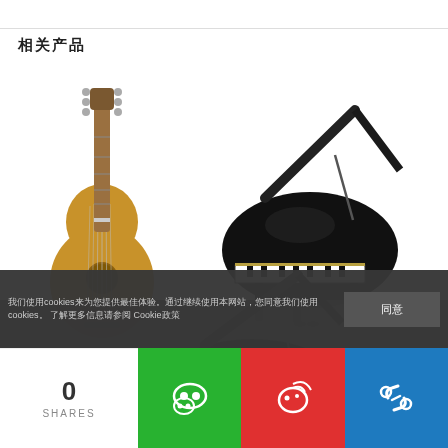相关产品
[Figure (photo): Cordoba classical guitar, acoustic, natural wood color]
[Figure (photo): KAWAI SK-3 grand piano, black, lid open]
Cordoba 科尔多瓦C5 Limited 古典吉他限量版
KAWAI SK-3 三角钢琴
$3,170.00
$2,695.00
[Figure (photo): KAWAI grand piano, black, lid open, second appearance]
我们使用cookies来为您提供最佳体验。通过继续使用本网站，您同意我们使用cookies。 了解更多信息请参阅 Cookie政策
同意
0
SHARES